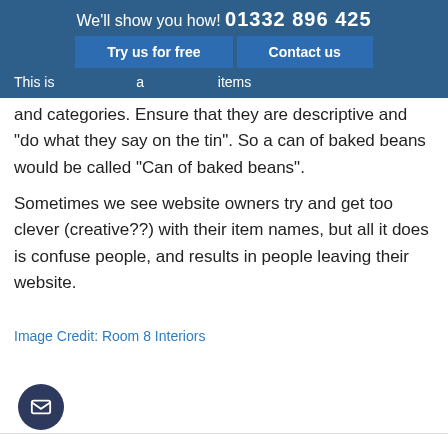We'll show you how! 01332 896 425 | Try us for free | Contact us
This is [partially obscured] items and categories. Ensure that they are descriptive and "do what they say on the tin". So a can of baked beans would be called "Can of baked beans".
Sometimes we see website owners try and get too clever (creative??) with their item names, but all it does is confuse people, and results in people leaving their website.
Image Credit: Room 8 Interiors